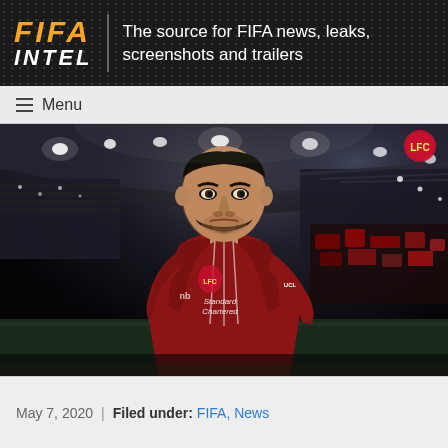FIFA INTEL | The source for FIFA news, leaks, screenshots and trailers
≡ Menu
[Figure (screenshot): FIFA video game screenshot showing a player in a red Liverpool FC jersey (Standard Chartered sponsor) standing in a stadium with floodlights and crowd in the background]
May 7, 2020 | Filed under: FIFA, News